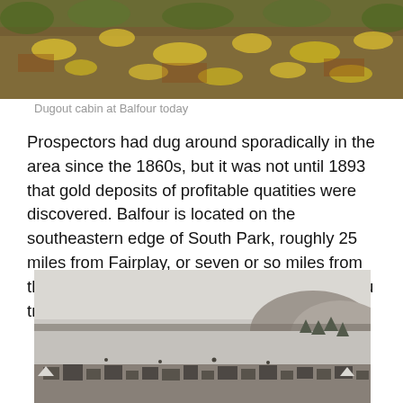[Figure (photo): Color photograph of hillside covered with shrubs and yellow wildflowers — dugout cabin at Balfour today]
Dugout cabin at Balfour today
Prospectors had dug around sporadically in the area since the 1860s, but it was not until 1893 that gold deposits of profitable quatities were discovered. Balfour is located on the southeastern edge of South Park, roughly 25 miles from Fairplay, or seven or so miles from the tiny town of Hartsel off of Highway 9 as you travel towards Guffey.
[Figure (photo): Black and white historical photograph of a town with scattered buildings in a snowy landscape with hills in the background]